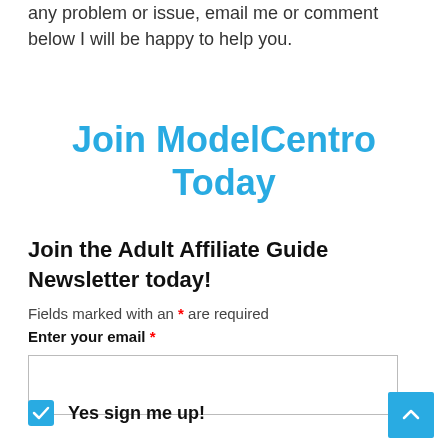any problem or issue, email me or comment below I will be happy to help you.
Join ModelCentro Today
Join the Adult Affiliate Guide Newsletter today!
Fields marked with an * are required
Enter your email *
[Figure (other): Email input field (empty text box)]
Yes sign me up!